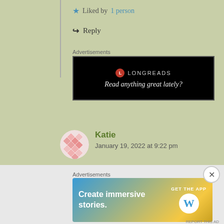★ Liked by 1 person
↪ Reply
Advertisements
[Figure (other): Longreads advertisement banner with black background. Shows Longreads logo (red circle with L) and text 'Read anything great lately?']
Katie
January 19, 2022 at 9:22 pm
I love your little knit houses!!
★ Like
Advertisements
[Figure (other): WordPress app advertisement banner. Gradient background from blue to yellow. Text: 'Create immersive stories.' with 'GET THE APP' and WordPress logo (W in white circle).]